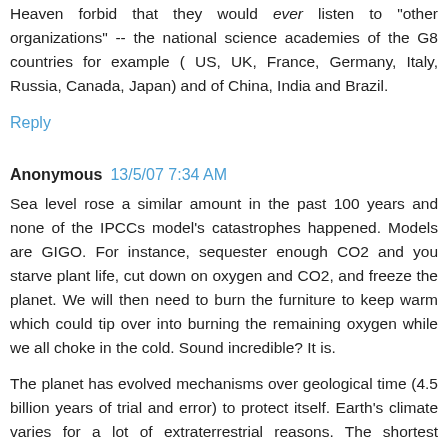Heaven forbid that they would ever listen to "other organizations" -- the national science academies of the G8 countries for example ( US, UK, France, Germany, Italy, Russia, Canada, Japan) and of China, India and Brazil.
Reply
Anonymous  13/5/07 7:34 AM
Sea level rose a similar amount in the past 100 years and none of the IPCCs model's catastrophes happened. Models are GIGO. For instance, sequester enough CO2 and you starve plant life, cut down on oxygen and CO2, and freeze the planet. We will then need to burn the furniture to keep warm which could tip over into burning the remaining oxygen while we all choke in the cold. Sound incredible? It is.
The planet has evolved mechanisms over geological time (4.5 billion years of trial and error) to protect itself. Earth's climate varies for a lot of extraterrestrial reasons. The shortest periodicity has to do with the interplay of solar activity and cosmic radiation from the Milky Way. During